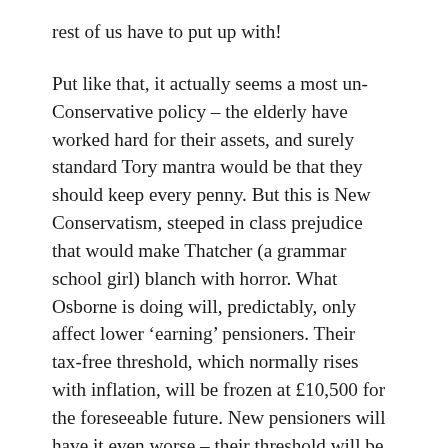rest of us have to put up with!
Put like that, it actually seems a most un-Conservative policy – the elderly have worked hard for their assets, and surely standard Tory mantra would be that they should keep every penny. But this is New Conservatism, steeped in class prejudice that would make Thatcher (a grammar school girl) blanch with horror. What Osborne is doing will, predictably, only affect lower 'earning' pensioners. Their tax-free threshold, which normally rises with inflation, will be frozen at £10,500 for the foreseeable future. New pensioners will have it even worse – their threshold will be stuck at £9205. Not coincidentally, the same as the new tax free